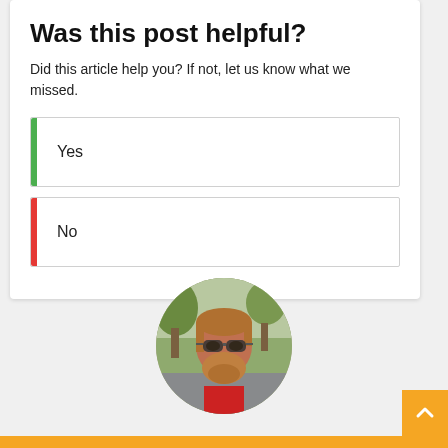Was this post helpful?
Did this article help you? If not, let us know what we missed.
Yes
No
[Figure (photo): Circular cropped portrait photo of a bearded man with sunglasses, outdoors with trees in background]
[Figure (other): Orange back-to-top arrow button in bottom-right corner]